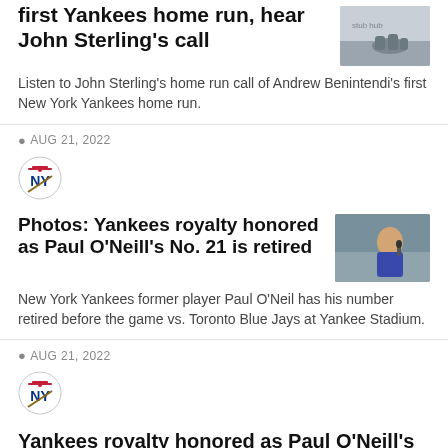first Yankees home run, hear John Sterling's call
Listen to John Sterling's home run call of Andrew Benintendi's first New York Yankees home run.
AUG 21, 2022
[Figure (logo): New York Yankees logo]
Photos: Yankees royalty honored as Paul O'Neill's No. 21 is retired
[Figure (photo): Paul O'Neill smiling in a suit, holding a microphone]
New York Yankees former player Paul O'Neil has his number retired before the game vs. Toronto Blue Jays at Yankee Stadium.
AUG 21, 2022
[Figure (logo): New York Yankees logo]
Yankees royalty honored as Paul O'Neill's No. 21 is retired, but club's present slide still front and center
"You make it so much fun to win in New York," Paul